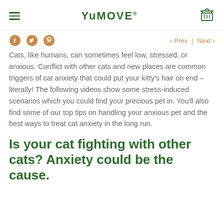YuMOVE
Cats, like humans, can sometimes feel low, stressed, or anxious. Conflict with other cats and new places are common triggers of cat anxiety that could put your kitty's hair on end – literally! The following videos show some stress-induced scenarios which you could find your precious pet in. You'll also find some of our top tips on handling your anxious pet and the best ways to treat cat anxiety in the long run.
Is your cat fighting with other cats? Anxiety could be the cause.